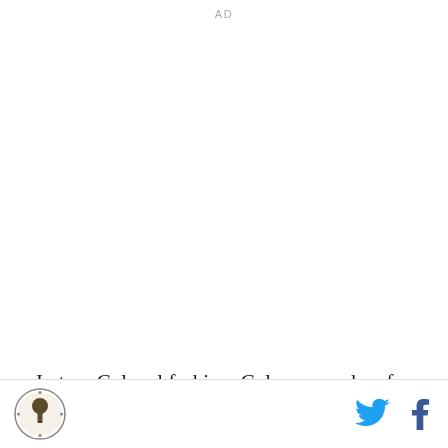AD
In true Colonel fashion, Coleman spoke of pretty much everyone but himself. He talked about how much he respected and loved working with Leitner. He talked about how much he loves San Diego.
I think the greatest thing that ever happened to me was landing in San Diego. I don't think, I know it was. Not only because of the city or where it's